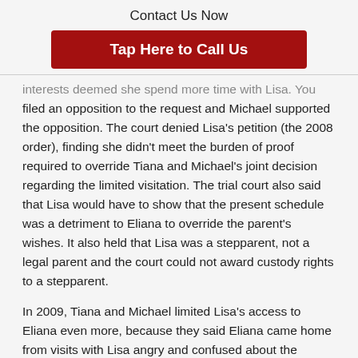Contact Us Now
Tap Here to Call Us
interests deemed she spend more time with Lisa. You filed an opposition to the request and Michael supported the opposition. The court denied Lisa's petition (the 2008 order), finding she didn't meet the burden of proof required to override Tiana and Michael's joint decision regarding the limited visitation. The trial court also said that Lisa would have to show that the present schedule was a detriment to Eliana to override the parent's wishes. It also held that Lisa was a stepparent, not a legal parent and the court could not award custody rights to a stepparent.
In 2009, Tiana and Michael limited Lisa's access to Eliana even more, because they said Eliana came home from visits with Lisa angry and confused about the